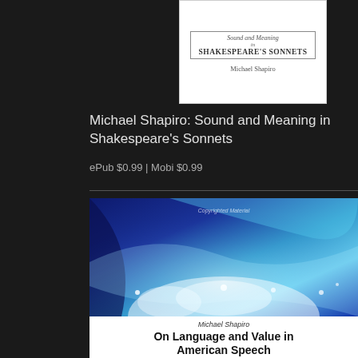[Figure (photo): Book cover for 'Sound and Meaning in Shakespeare's Sonnets' by Michael Shapiro — white background with decorative banner text]
Michael Shapiro: Sound and Meaning in Shakespeare's Sonnets
ePub $0.99 | Mobi $0.99
[Figure (photo): Book cover for 'On Language and Value in American Speech' by Michael Shapiro — abstract blue/teal wavy light design with white text footer showing author name and book title]